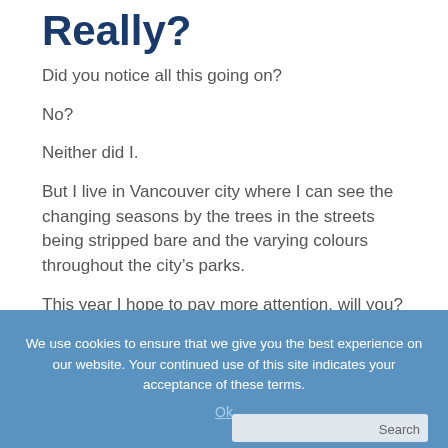Really?
Did you notice all this going on?
No?
Neither did I.
But I live in Vancouver city where I can see the changing seasons by the trees in the streets being stripped bare and the varying colours throughout the city’s parks.
This year I hope to pay more attention, will you?
We use cookies to ensure that we give you the best experience on our website. Your continued use of this site indicates your acceptance of these terms.